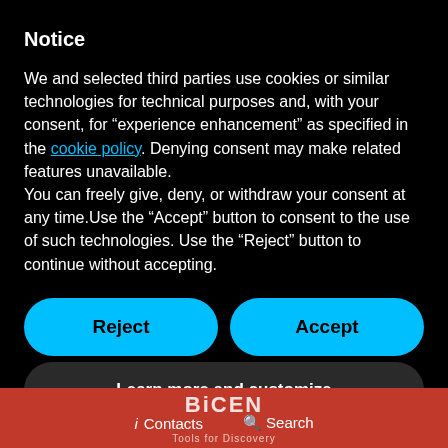Notice
We and selected third parties use cookies or similar technologies for technical purposes and, with your consent, for “experience enhancement” as specified in the cookie policy. Denying consent may make related features unavailable.
You can freely give, deny, or withdraw your consent at any time.Use the “Accept” button to consent to the use of such technologies. Use the “Reject” button to continue without accepting.
[Figure (other): Reject button (cyan/blue rounded rectangle) and Accept button (cyan/blue rounded rectangle) side by side]
[Figure (other): Learn more and customize button (dark grey rounded rectangle)]
[Figure (other): Footer bar with red background showing i Contacts and magnifier Search icons with BICEN Tools for Discovery logo text]